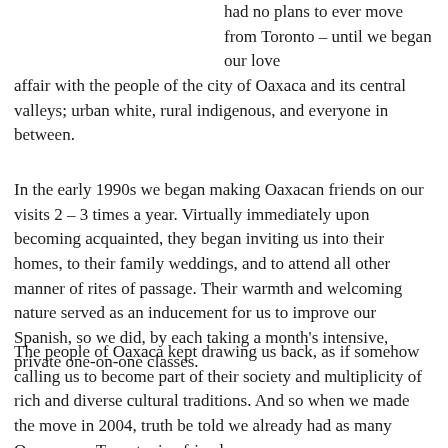had no plans to ever move from Toronto – until we began our love affair with the people of the city of Oaxaca and its central valleys; urban white, rural indigenous, and everyone in between.
In the early 1990s we began making Oaxacan friends on our visits 2 – 3 times a year. Virtually immediately upon becoming acquainted, they began inviting us into their homes, to their family weddings, and to attend all other manner of rites of passage. Their warmth and welcoming nature served as an inducement for us to improve our Spanish, so we did, by each taking a month's intensive, private one-on-one classes.
The people of Oaxaca kept drawing us back, as if somehow calling us to become part of their society and multiplicity of rich and diverse cultural traditions. And so when we made the move in 2004, truth be told we already had as many Oaxacan as Torontonian friends.